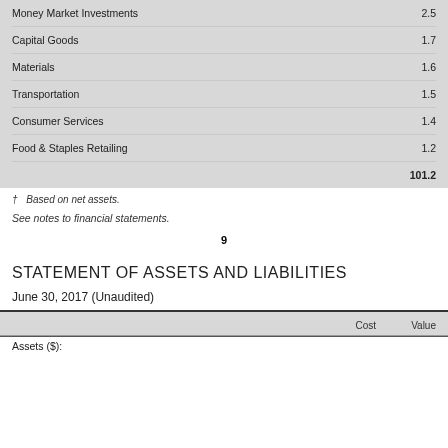|  |  |
| --- | --- |
| Money Market Investments | 2.5 |
| Capital Goods | 1.7 |
| Materials | 1.6 |
| Transportation | 1.5 |
| Consumer Services | 1.4 |
| Food & Staples Retailing | 1.2 |
|  | 101.2 |
† Based on net assets.
See notes to financial statements.
9
STATEMENT OF ASSETS AND LIABILITIES
June 30, 2017 (Unaudited)
|  | Cost | Value |
| --- | --- | --- |
| Assets ($): |  |  |